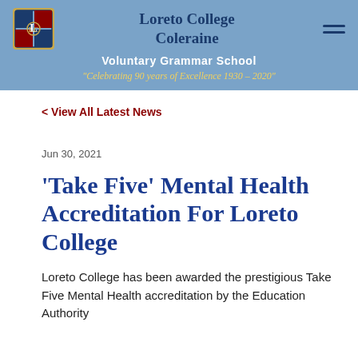[Figure (logo): Loreto College Coleraine school crest/logo in the header banner, alongside school name and hamburger menu icon. Blue banner with school name in dark blue serif font, subtitle 'Voluntary Grammar School' in white bold, tagline in gold italic.]
< View All Latest News
Jun 30, 2021
'Take Five' Mental Health Accreditation For Loreto College
Loreto College has been awarded the prestigious Take Five Mental Health accreditation by the Education Authority...